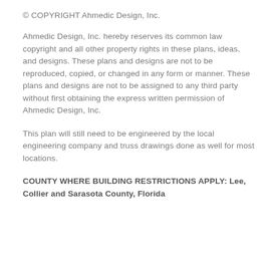© COPYRIGHT Ahmedic Design, Inc.
Ahmedic Design, Inc. hereby reserves its common law copyright and all other property rights in these plans, ideas, and designs. These plans and designs are not to be reproduced, copied, or changed in any form or manner. These plans and designs are not to be assigned to any third party without first obtaining the express written permission of Ahmedic Design, Inc.
This plan will still need to be engineered by the local engineering company and truss drawings done as well for most locations.
COUNTY WHERE BUILDING RESTRICTIONS APPLY: Lee, Collier and Sarasota County, Florida